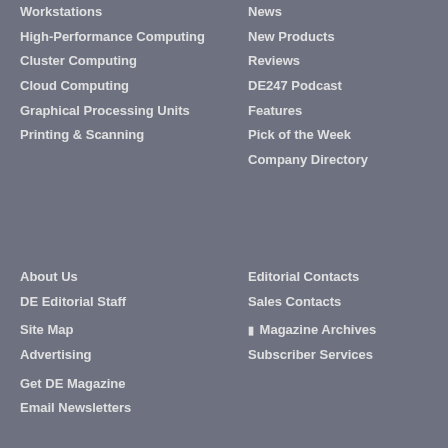Workstations
High-Performance Computing
Cluster Computing
Cloud Computing
Graphical Processing Units
Printing & Scanning
News
New Products
Reviews
DE247 Podcast
Features
Pick of the Week
Company Directory
About Us
DE Editorial Staff
Site Map
Advertising
Get DE Magazine
Email Newsletters
Editorial Contacts
Sales Contacts
Magazine Archives
Subscriber Services